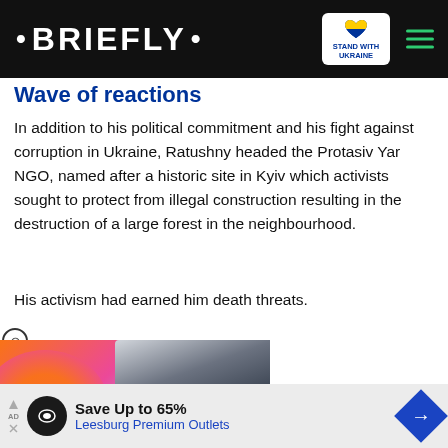• BRIEFLY • [Stand with Ukraine badge] [menu]
Wave of reactions
In addition to his political commitment and his fight against corruption in Ukraine, Ratushny headed the Protasiv Yar NGO, named after a historic site in Kyiv which activists sought to protect from illegal construction resulting in the destruction of a large forest in the neighbourhood.
His activism had earned him death threats.
[Figure (photo): Video advertisement thumbnail showing a man in a black shirt with text 'CAN MARK HAVE IT ALL?' on an orange/pink background with a play button overlay and a red down-arrow button.]
[Figure (screenshot): Bottom banner advertisement: 'Save Up to 65% Leesburg Premium Outlets' with a blue diamond arrow icon and a circular logo.]